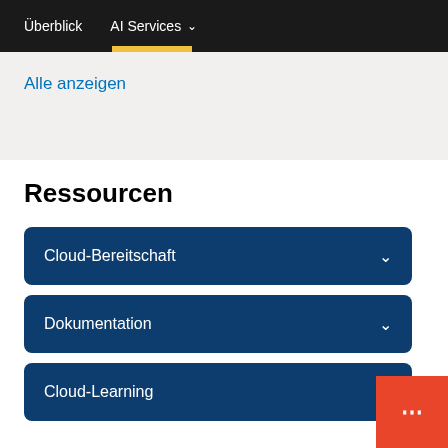Überblick   AI Services ∨
Alle anzeigen
Ressourcen
Cloud-Bereitschaft
Dokumentation
Cloud-Learning